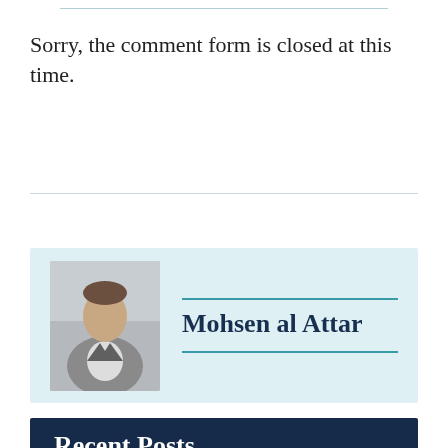Sorry, the comment form is closed at this time.
[Figure (photo): Portrait photo of Mohsen al Attar, a man in a suit jacket seated casually]
Mohsen al Attar
Recent Posts